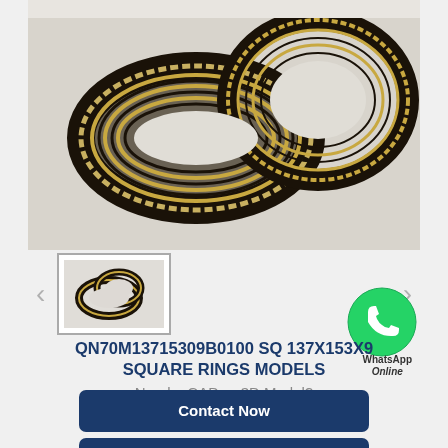[Figure (photo): Close-up photo of two layered/striped square rings (sealing rings) with gold and dark stripes, interlocked on a white background]
[Figure (photo): Small thumbnail image of two square rings stacked, dark metallic appearance]
QN70M13715309B0100 SQ 137X153X9 SQUARE RINGS MODELS
Need a CAD or 3D Model?
Contact Now
WhatsApp
Be Our Agent